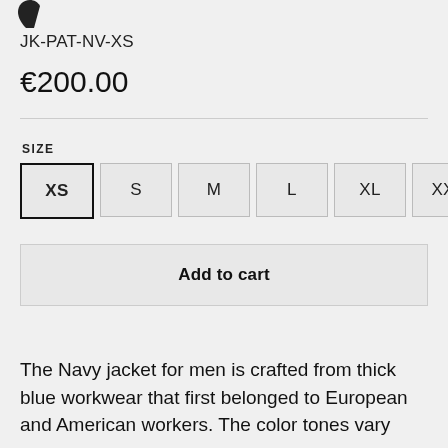[Figure (logo): Partial logo icon in dark color at top left]
JK-PAT-NV-XS
€200.00
SIZE
XS  S  M  L  XL  XXL
Add to cart
The Navy jacket for men is crafted from thick blue workwear that first belonged to European and American workers. The color tones vary